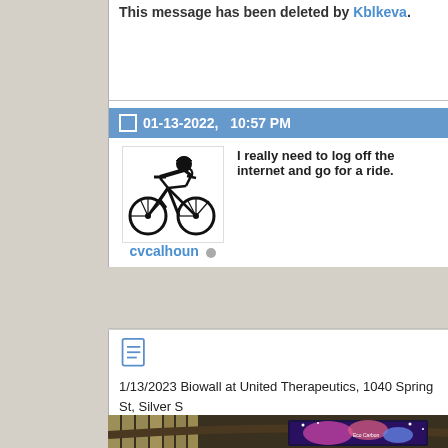This message has been deleted by Kblkeva.
01-13-2022, 10:57 PM
[Figure (illustration): Black and white silhouette illustration of a person riding a bicycle, wearing a helmet.]
cvcalhoun (online indicator)
I really need to log off the internet and go for a ride.
[Figure (other): Document/file icon — a blue outlined page icon.]
1/13/2023 Biowall at United Therapeutics, 1040 Spring St, Silver S... changing nature-themed silent show, with benches and little lit-up s...
[Figure (photo): Photo of an indoor building lobby or atrium with vertical architectural panels and a large display screen showing a colorful space-themed image labeled 'Eco Carbon'.]